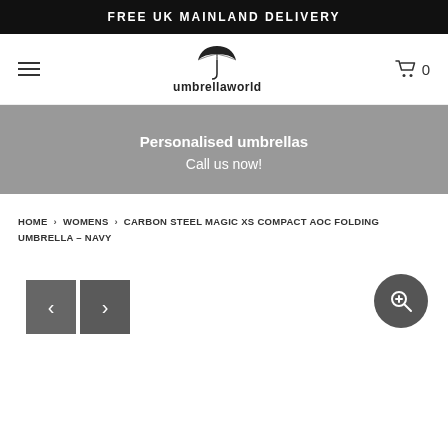FREE UK MAINLAND DELIVERY
[Figure (logo): Umbrellaworld logo with umbrella icon and text 'umbrellaworld']
Personalised umbrellas
Call us now!
HOME > WOMENS > CARBON STEEL MAGIC XS COMPACT AOC FOLDING UMBRELLA – NAVY
[Figure (other): Product image navigation area with left/right arrow buttons and zoom button]